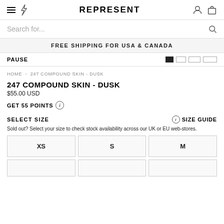REPRESENT
Search for...
FREE SHIPPING FOR USA & CANADA
PAUSE
HOME > 247 COMPOUND SKIN - DUSK
247 COMPOUND SKIN - DUSK
$55.00 USD
GET 55 POINTS
SELECT SIZE
SIZE GUIDE
Sold out? Select your size to check stock availability across our UK or EU web-stores.
XS
S
M